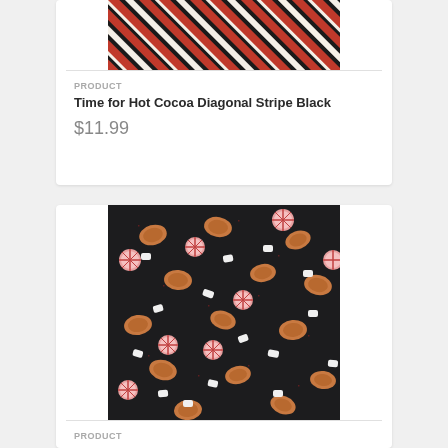[Figure (photo): Diagonal stripe fabric pattern in red, black, and cream/white colors]
PRODUCT
Time for Hot Cocoa Diagonal Stripe Black
$11.99
[Figure (photo): Dark black fabric with scattered candy pattern including peppermint candies (pink), caramel/chocolate pieces (brown/orange), and marshmallows (white)]
PRODUCT